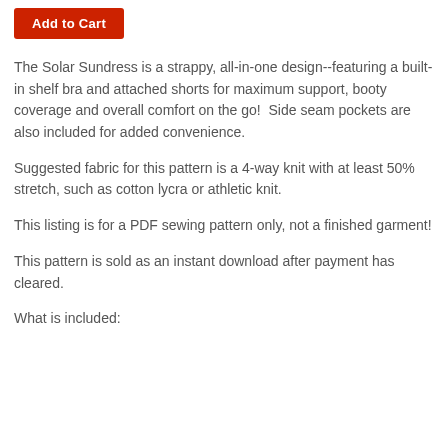Add to Cart
The Solar Sundress is a strappy, all-in-one design--featuring a built-in shelf bra and attached shorts for maximum support, booty coverage and overall comfort on the go!  Side seam pockets are also included for added convenience.
Suggested fabric for this pattern is a 4-way knit with at least 50% stretch, such as cotton lycra or athletic knit.
This listing is for a PDF sewing pattern only, not a finished garment!
This pattern is sold as an instant download after payment has cleared.
What is included: